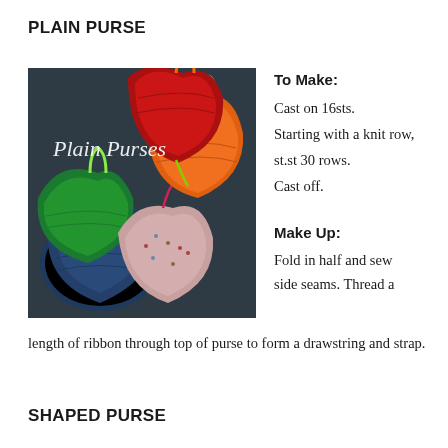PLAIN PURSE
[Figure (photo): Photo of multiple colorful knitted purses (red, orange, green, navy blue, pink/multicolor) arranged on a dark background, with the text 'Plain Purses' overlaid in italic white script.]
To Make:
Cast on 16sts.
Starting with a knit row, st.st 30 rows.
Cast off.
Make Up:
Fold in half and sew side seams. Thread a length of ribbon through top of purse to form a drawstring and strap.
SHAPED PURSE